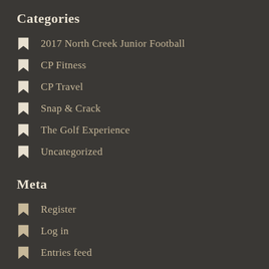Categories
2017 North Creek Junior Football
CP Fitness
CP Travel
Snap & Crack
The Golf Experience
Uncategorized
Meta
Register
Log in
Entries feed